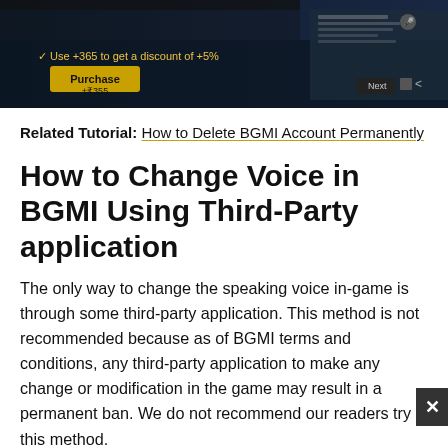[Figure (screenshot): Screenshot of BGMI in-game purchase screen with dark background, showing a Purchase button and game UI elements]
Related Tutorial: How to Delete BGMI Account Permanently
How to Change Voice in BGMI Using Third-Party application
The only way to change the speaking voice in-game is through some third-party application. This method is not recommended because as of BGMI terms and conditions, any third-party application to make any change or modification in the game may result in a permanent ban. We do not recommend our readers try this method.
[1] Search and install DU Recorder APK from Google Chrome (This application is not available on any official Android or iOS store).